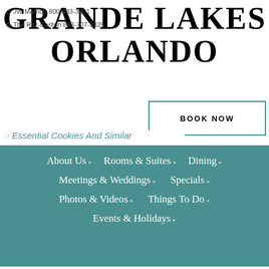[Figure (logo): Grande Lakes Orlando logo with large bold serif text spanning two lines: GRANDE LAKES / ORLANDO]
JW Marriott 800-433-3401
The Ritz-Carlton 888-707-9325
BOOK NOW
Essential Cookies And Similar
About Us ▸    Rooms & Suites ▸    Dining ▸    Meetings & Weddings ▸    Specials ▸    Photos & Videos ▸    Things To Do ▸    Events & Holidays ▸
Technologies
These collect information about your use of our website apps and enable us to improve the way it works. For more about these cookies and how they...